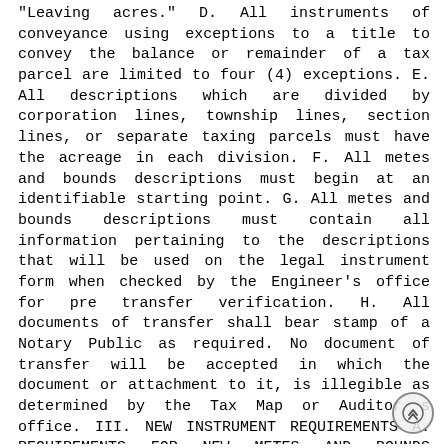"Leaving acres." D. All instruments of conveyance using exceptions to a title to convey the balance or remainder of a tax parcel are limited to four (4) exceptions. E. All descriptions which are divided by corporation lines, township lines, section lines, or separate taxing parcels must have the acreage in each division. F. All metes and bounds descriptions must begin at an identifiable starting point. G. All metes and bounds descriptions must contain all information pertaining to the descriptions that will be used on the legal instrument form when checked by the Engineer's office for pre transfer verification. H. All documents of transfer shall bear stamp of a Notary Public as required. No document of transfer will be accepted in which the document or attachment to it, is illegible as determined by the Tax Map or Auditor s office. III. NEW INSTRUMENT REQUIREMENTS A. REQUIREMENTS FOR NEW METES AND BOUNDS DESCRIPTIONS All new splits of existing parcels must be described by a metes and bounds description. All new metes and bounds descriptions must incorporate the following: 1. Situate: A. Must denote state, county, township, municipality, part of section (ex. NW ¼ OR S ½ ), section, township & range, or Virginia Military Survey Number, etc. B. Must denote